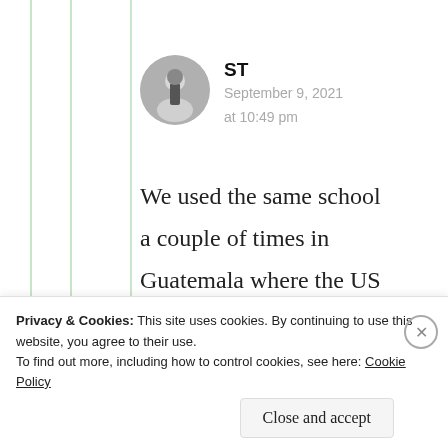ST
September 9, 2021
at 10:49 pm
We used the same school a couple of times in Guatemala where the US Coasties sent their guys and gals to learn Spanish when a jarhead had a
Privacy & Cookies: This site uses cookies. By continuing to use this website, you agree to their use.
To find out more, including how to control cookies, see here: Cookie Policy
Close and accept